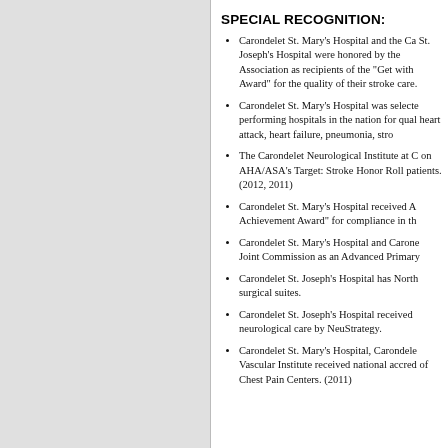SPECIAL RECOGNITION:
Carondelet St. Mary's Hospital and the Ca St. Joseph's Hospital were honored by the Association as recipients of the “Get with Award” for the quality of their stroke care.
Carondelet St. Mary’s Hospital was selecte performing hospitals in the nation for qual heart attack, heart failure, pneumonia, stro
The Carondelet Neurological Institute at C on AHA/ASA’s Target: Stroke Honor Roll patients. (2012, 2011)
Carondelet St. Mary’s Hospital received A Achievement Award” for compliance in th
Carondelet St. Mary’s Hospital and Carone Joint Commission as an Advanced Primary
Carondelet St. Joseph’s Hospital has North surgical suites.
Carondelet St. Joseph’s Hospital received neurological care by NeuStrategy.
Carondelet St. Mary’s Hospital, Carondele Vascular Institute received national accred of Chest Pain Centers. (2011)